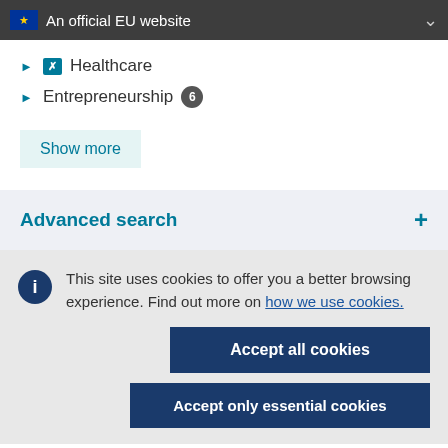An official EU website
Healthcare
Entrepreneurship 6
Show more
Advanced search +
This site uses cookies to offer you a better browsing experience. Find out more on how we use cookies.
Accept all cookies
Accept only essential cookies